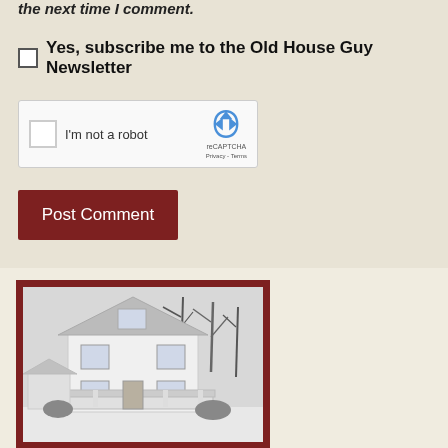the next time I comment.
Yes, subscribe me to the Old House Guy Newsletter
[Figure (screenshot): reCAPTCHA widget with checkbox labeled 'I'm not a robot' and Google reCAPTCHA logo with Privacy and Terms links]
Post Comment
[Figure (photo): Old white two-story house with bare winter trees in background, shown inside a dark red border frame]